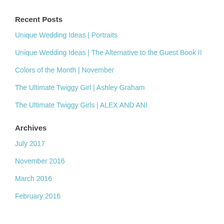Recent Posts
Unique Wedding Ideas | Portraits
Unique Wedding Ideas | The Alternative to the Guest Book II
Colors of the Month | November
The Ultimate Twiggy Girl | Ashley Graham
The Ultimate Twiggy Girls | ALEX AND ANI
Archives
July 2017
November 2016
March 2016
February 2016